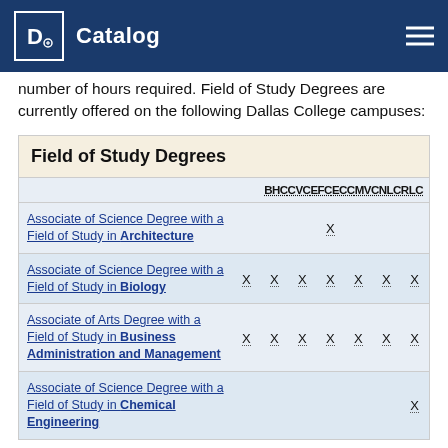Catalog
number of hours required. Field of Study Degrees are currently offered on the following Dallas College campuses:
| Field of Study Degrees | BHC | CVC | EFC | ECC | MVC | NLC | RLC |
| --- | --- | --- | --- | --- | --- | --- | --- |
| Associate of Science Degree with a Field of Study in Architecture |  |  |  | X |  |  |  |
| Associate of Science Degree with a Field of Study in Biology | X | X | X | X | X | X | X |
| Associate of Arts Degree with a Field of Study in Business Administration and Management | X | X | X | X | X | X | X |
| Associate of Science Degree with a Field of Study in Chemical Engineering |  |  |  |  |  |  | X |